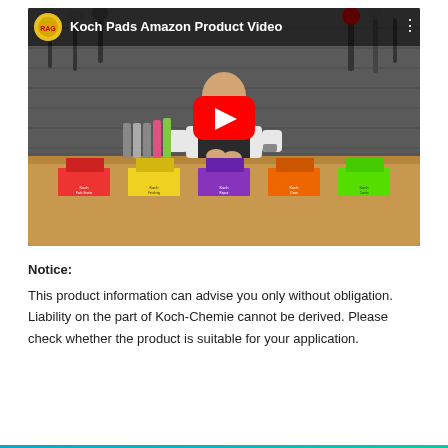[Figure (screenshot): YouTube video thumbnail showing a man in a workshop with colored Koch Pads boxes on a table. Title reads 'Koch Pads Amazon Product Video'. Red YouTube play button overlay in center.]
Notice:
This product information can advise you only without obligation. Liability on the part of Koch-Chemie cannot be derived. Please check whether the product is suitable for your application.